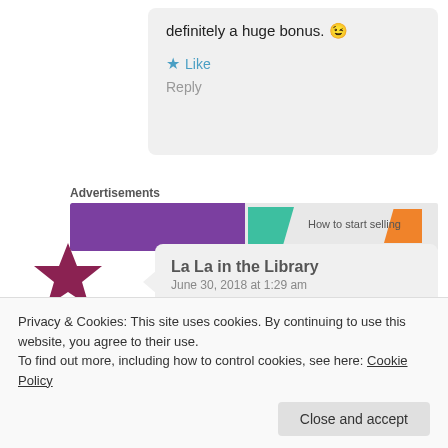definitely a huge bonus. 😉
★ Like
Reply
Advertisements
[Figure (screenshot): Advertisement banner with purple, teal, and orange colored sections with partial text 'How to start selling']
La La in the Library
June 30, 2018 at 1:29 am

That cover is GORGEOUS! I didn't
Privacy & Cookies: This site uses cookies. By continuing to use this website, you agree to their use.
To find out more, including how to control cookies, see here: Cookie Policy
Close and accept